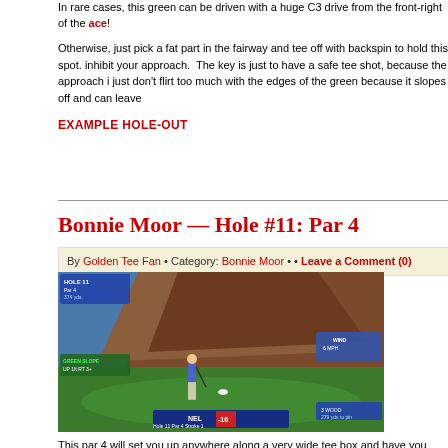In rare cases, this green can be driven with a huge C3 drive from the front-right of the ace!
Otherwise, just pick a fat part in the fairway and tee off with backspin to hold this spot. inhibit your approach. The key is just to have a safe tee shot, because the approach i just don't flirt too much with the edges of the green because it slopes off and can leave
EXAMPLE HOLE-OUT
Bonnie Moor — Hole #11: Par 4
By Golden Tee Fan • Category: Bonnie Moor • • Leave a Comment (0)
[Figure (screenshot): Screenshot of Golden Tee golf game showing Hole 11, Par 4, 279 yds to pin. A golfer is addressing the ball on a green fairway with a large brown hill in the background. HUD shows Green Slope UP 1ft RT 3+, Wind 6 MPH, 3 Wood, NEL -16, Hole 11 Par 4 Stroke 1.]
This par 4 will set you up anywhere along a very wide tee box and have you shoot into difficulty depends on how much you have to hook around the hill on the way to the gre box, you'll have to play quite a bit of hook to get around the hill and back to the green. example, you could have a straight shot into that green.